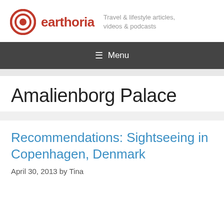[Figure (logo): Earthoria logo with concentric circle target icon in dark red/orange and the word 'earthoria' in bold red text]
Travel & lifestyle articles, videos & podcasts
≡ Menu
Amalienborg Palace
Recommendations: Sightseeing in Copenhagen, Denmark
April 30, 2013 by Tina